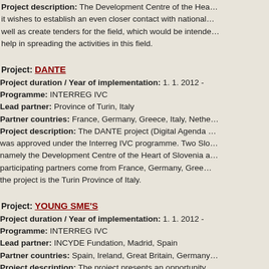Project description: The Development Centre of the Hea... it wishes to establish an even closer contact with national... well as create tenders for the field, which would be intende... help in spreading the activities in this field.
Project: DANTE
Project duration / Year of implementation: 1. 1. 2012 - ...
Programme: INTERREG IVC
Lead partner: Province of Turin, Italy
Partner countries: France, Germany, Greece, Italy, Nethe...
Project description: The DANTE project (Digital Agenda... was approved under the Interreg IVC programme. Two Slo... namely the Development Centre of the Heart of Slovenia a... participating partners come from France, Germany, Gree... the project is the Turin Province of Italy.
Project: YOUNG SME'S
Project duration / Year of implementation: 1. 1. 2012 - ...
Programme: INTERREG IVC
Lead partner: INCYDE Fundation, Madrid, Spain
Partner countries: Spain, Ireland, Great Britain, Germany...
Project description: The project presents an opportunity... support environment of our enterprises. Education courses... abroad and two selected examples of good practice will be...
Project: FaRInn – Promoting responsible innov...
Project duration / Year of implementation: 1. 10. 2012 - ...
Program: SEE – South East Europe